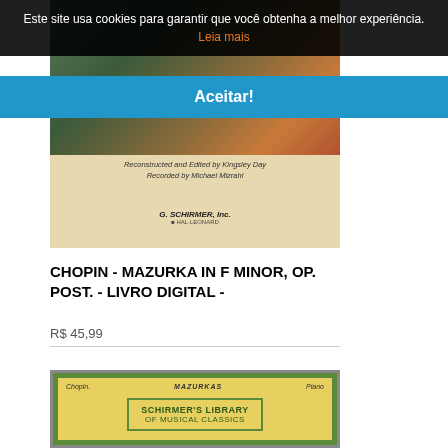Este site usa cookies para garantir que você obtenha a melhor experiência. Leia mais
Aceitar!
[Figure (photo): Book cover for Chopin Mazurka in F Minor Op. Post. with decorative art and G. Schirmer Inc. publisher logo]
CHOPIN - MAZURKA IN F MINOR, OP. POST. - LIVRO DIGITAL -
R$ 45,99
[Figure (photo): Book cover for Schirmer's Library of Musical Classics featuring Chopin Mazurkas for Piano, green decorative border on yellow background]